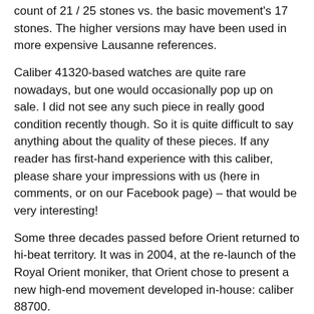count of 21 / 25 stones vs. the basic movement's 17 stones. The higher versions may have been used in more expensive Lausanne references.
Caliber 41320-based watches are quite rare nowadays, but one would occasionally pop up on sale. I did not see any such piece in really good condition recently though. So it is quite difficult to say anything about the quality of these pieces. If any reader has first-hand experience with this caliber, please share your impressions with us (here in comments, or on our Facebook page) – that would be very interesting!
Some three decades passed before Orient returned to hi-beat territory. It was in 2004, at the re-launch of the Royal Orient moniker, that Orient chose to present a new high-end movement developed in-house: caliber 88700.
[Figure (photo): Photograph of a watch bracelet/band, silver stainless steel jubilee-style bracelet, viewed from above showing the clasp and links area, partially cropped.]